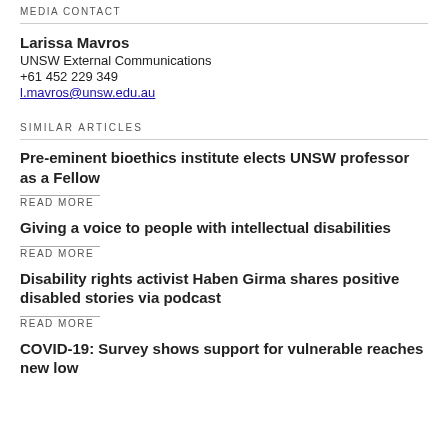MEDIA CONTACT
Larissa Mavros
UNSW External Communications
+61 452 229 349
l.mavros@unsw.edu.au
SIMILAR ARTICLES
Pre-eminent bioethics institute elects UNSW professor as a Fellow
READ MORE
Giving a voice to people with intellectual disabilities
READ MORE
Disability rights activist Haben Girma shares positive disabled stories via podcast
READ MORE
COVID-19: Survey shows support for vulnerable reaches new low